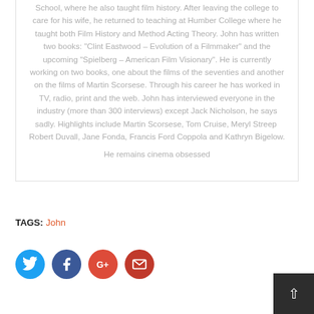School, where he also taught film history. After leaving the college to care for his wife, he returned to teaching at Humber College where he taught both Film History and Method Acting Theory. John has written two books: "Clint Eastwood – Evolution of a Filmmaker" and the upcoming "Spielberg – American Film Visionary". He is currently working on two books, one about the films of the seventies and another on the films of Martin Scorsese. Through his career he has worked in TV, radio, print and the web. John has interviewed everyone in the industry (more than 300 interviews) except Jack Nicholson, he says sadly. Highlights include Martin Scorsese, Tom Cruise, Meryl Streep  Robert Duvall, Jane Fonda, Francis Ford Coppola and Kathryn Bigelow.
He remains cinema obsessed
TAGS: John
[Figure (infographic): Social media share icons: Twitter (blue), Facebook (dark blue), Google+ (red), Email (dark red). Back to top button (dark grey with white upward arrow) in bottom right.]